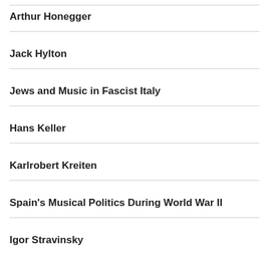Arthur Honegger
Jack Hylton
Jews and Music in Fascist Italy
Hans Keller
Karlrobert Kreiten
Spain's Musical Politics During World War II
Igor Stravinsky